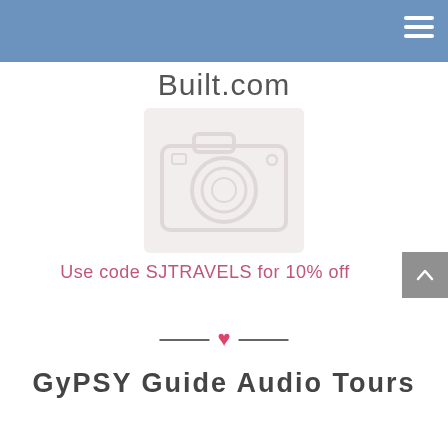Built.com
[Figure (illustration): Faint watermark-style illustration of a camera in light pink/white tones on a light background]
Use code SJTRAVELS for 10% off
[Figure (illustration): Decorative divider with two short horizontal lines flanking a pink heart]
GyPSY Guide Audio Tours